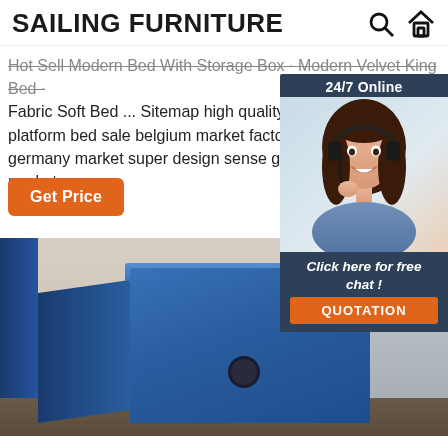SAILING FURNITURE
Hot Sell Modern Bed With Storage Box · Modern Velvet King Bed · Fabric Soft Bed ... Sitemap high quality materials tufted linen platform bed sale belgium market factory price sofa chair germany market super design sense gas lift bed frame market ...
Get Price
[Figure (photo): 24/7 Online customer service chat widget with agent photo, 'Click here for free chat!' text, and QUOTATION button]
[Figure (photo): Blue velvet nightstand/bedside table with round drawer handle, photographed against a neutral wall with blue curtain/headboard visible on the left]